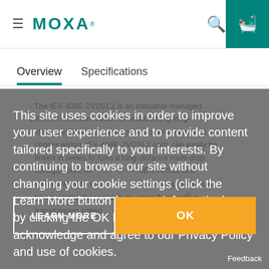MOXA
Overview   Specifications
The IEX-408E-2VDSL2 is an industrial managed Ethernet extender switch for establishing long-distance Ethernet transmissions over twisted-pair copper wiring. IEX-408E-2VDSL2 units can easily be linked in series to form a long-distance multi-drop configuration, with one IEX-408E-2VDSL2 unit located at each drop point. Adjacent drop points can be separated theoretically by up to 3 km, with a transmission speed of 1 Mbps achieved us
This site uses cookies in order to improve your user experience and to provide content tailored specifically to your interests. By continuing to browse our site without changing your cookie settings (click the Learn More button for more information), or by clicking the OK button below, you hereby acknowledge and agree to our Privacy Policy and use of cookies.